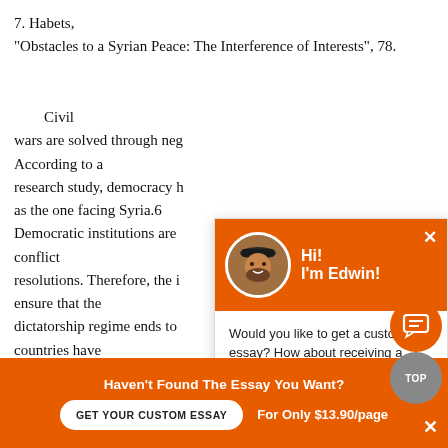7. Habets, "Obstacles to a Syrian Peace: The Interference of Interests", 78.
Civil wars are solved through neg... According to a research study, democracy h... as the one facing Syria.6 Democratic institutions are... conflict resolutions. Therefore, the i... ensure that the dictatorship regime ends to... countries have shown interest in the resolution of Syrian problems. Fo...
[Figure (screenshot): Chat popup overlay from essay writing service featuring Edwin's photo, greeting 'Hi! I'm Edwin!', and message about custom essays with a 'Check it out' link.]
Haven't Found The Essay You Want?
GET YOUR CUSTOM ESSAY   For Only $13.90/page